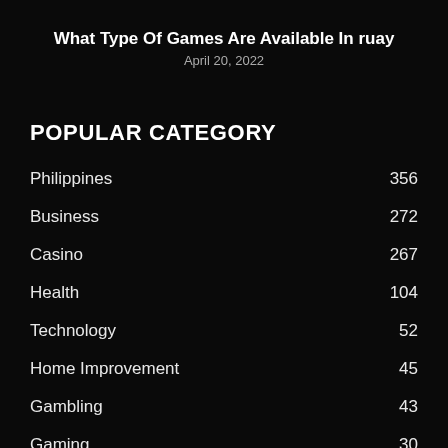What Type Of Games Are Available In ruay
April 20, 2022
POPULAR CATEGORY
Philippines 356
Business 272
Casino 267
Health 104
Technology 52
Home Improvement 45
Gambling 43
Gaming 30